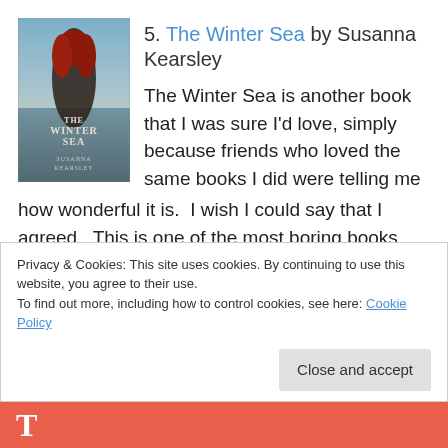[Figure (photo): Book cover of 'The Winter Sea' by Susanna Kearsley — dark atmospheric cover with a figure with red hair, sea in background]
5. The Winter Sea by Susanna Kearsley
The Winter Sea is another book that I was sure I'd love, simply because friends who loved the same books I did were telling me how wonderful it is.  I wish I could say that I agreed.  This is one of the most boring books I've read.  I cared about the present day story, and every time I was pulled out of that I lost interest.  The transition from present to past ruined it
Privacy & Cookies: This site uses cookies. By continuing to use this website, you agree to their use.
To find out more, including how to control cookies, see here: Cookie Policy
Close and accept